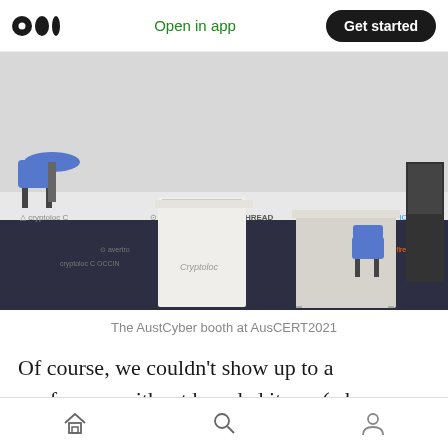Open in app | Get started
[Figure (photo): Photo of the AustCyber booth at AusCERT2021 conference — two white standing kiosks/podiums on a dark carpet floor, blue chairs and a round table in the background, sponsor logo backdrop visible behind.]
The AustCyber booth at AusCERT2021
Of course, we couldn’t show up to a conference without branded items (a.k.a. merch), so we took the liberty of ordering some. As superficial as this
Home | Search | Profile